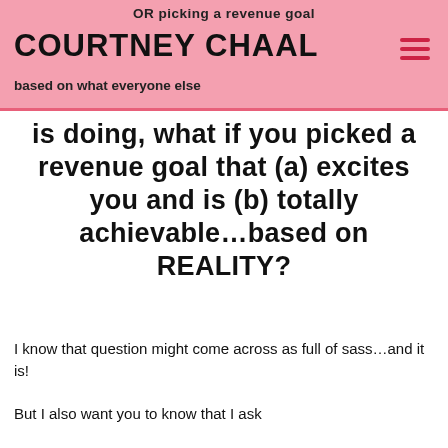OR picking a revenue goal
COURTNEY CHAAL
based on what everyone else
is doing, what if you picked a revenue goal that (a) excites you and is (b) totally achievable…based on REALITY?
I know that question might come across as full of sass…and it is!
But I also want you to know that I ask